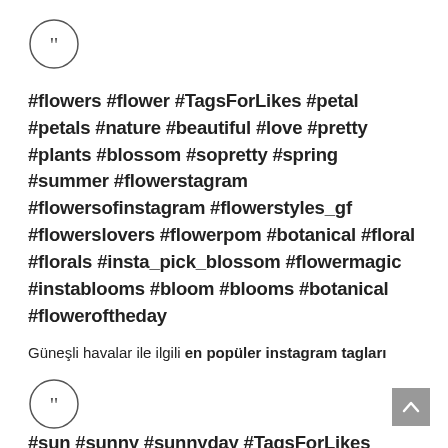[Figure (illustration): Circular quote/speech icon with closing double quotation mark]
#flowers #flower #TagsForLikes #petal #petals #nature #beautiful #love #pretty #plants #blossom #sopretty #spring #summer #flowerstagram #flowersofinstagram #flowerstyles_gf #flowerslovers #flowerpom #botanical #floral #florals #insta_pick_blossom #flowermagic #instablooms #bloom #blooms #botanical #floweroftheday
Güneşli havalar ile ilgili en popüler instagram tagları
[Figure (illustration): Circular quote/speech icon with closing double quotation mark]
#sun #sunny #sunnyday #TagsForLikes #sunnydays